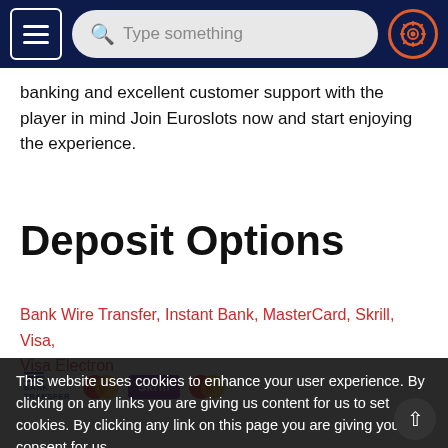Navigation bar with menu button, search field 'Type something', and settings icon
banking and excellent customer support with the player in mind Join Euroslots now and start enjoying the experience.
Deposit Options
Bank Wire Transfer, Instant Bank, MasterCard, Skrill, Visa, Visa Electron
[Figure (logo): Payment method logos: Bank Transfer, MasterCard, Skrill, MasterCard]
This website uses cookies to enhance your user experience. By clicking on any links you are giving us content for us to set cookies. By clicking any link on this page you are giving your consent for us to set cookies
Withdrawal Options